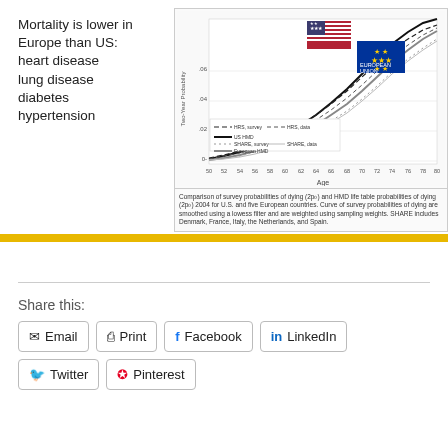Mortality is lower in Europe than US: heart disease lung disease diabetes hypertension
[Figure (continuous-plot): Line chart showing two-year probability of dying by age (50-80) comparing HRS (survey and data), SHARE (survey and data), US HMD, and European HMD. US flag and EU flag shown as legend images. Lines curve upward with age, US lines generally higher than European lines.]
Comparison of survey probabilities of dying (2p₀) and HMD life table probabilities of dying (2p₀) 2004 for U.S. and five European countries. Curve of survey probabilities of dying are smoothed using a lowess filter and are weighted using sampling weights. SHARE includes Denmark, France, Italy, the Netherlands, and Spain.
Share this:
Email
Print
Facebook
LinkedIn
Twitter
Pinterest